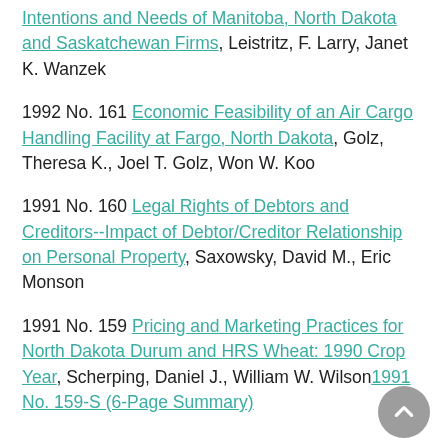Intentions and Needs of Manitoba, North Dakota and Saskatchewan Firms, Leistritz, F. Larry, Janet K. Wanzek
1992 No. 161 Economic Feasibility of an Air Cargo Handling Facility at Fargo, North Dakota, Golz, Theresa K., Joel T. Golz, Won W. Koo
1991 No. 160 Legal Rights of Debtors and Creditors--Impact of Debtor/Creditor Relationship on Personal Property, Saxowsky, David M., Eric Monson
1991 No. 159 Pricing and Marketing Practices for North Dakota Durum and HRS Wheat: 1990 Crop Year, Scherping, Daniel J., William W. Wilson 1991 No. 159-S (6-Page Summary)